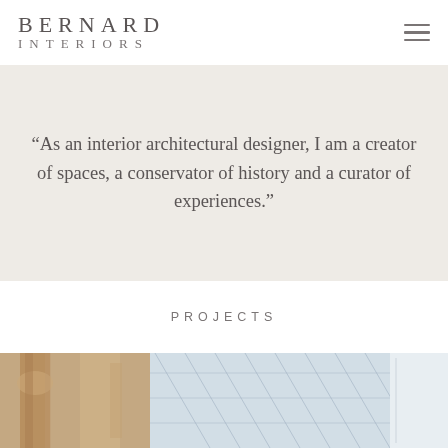BERNARD INTERIORS
“As an interior architectural designer, I am a creator of spaces, a conservator of history and a curator of experiences.”
PROJECTS
[Figure (photo): Architectural interior photo showing classical column detail and geometric glass ceiling structure]